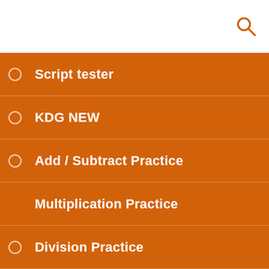[Figure (other): White top bar with orange search icon (magnifying glass) in top-right corner]
Script tester
KDG NEW
Add / Subtract Practice
Multiplication Practice
Division Practice
FirstRun
AV Sightwords 1st
Basal